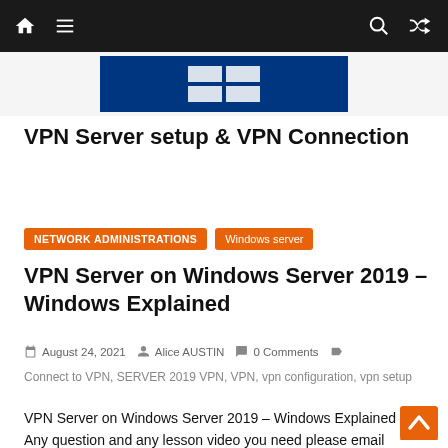Navigation bar with home, menu, search, and shuffle icons
[Figure (screenshot): Blue banner image strip showing a partial Windows logo on dark blue background]
VPN Server setup & VPN Connection
NETWORK ADMINISTRATIONS
Windows server
VPN Server on Windows Server 2019 – Windows Explained
August 24, 2021  Alice AUSTIN  0 Comments
Connect to VPN, SERVER 2019 VPN, VPN, vpn configuration, vpn setup
VPN Server on Windows Server 2019 – Windows Explained Any question and any lesson video you need please email me: